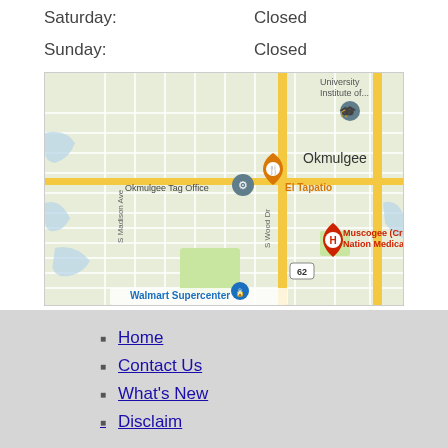Saturday:    Closed
Sunday:    Closed
[Figure (map): Google Map showing Okmulgee area with markers for Okmulgee Tag Office, El Tapatio restaurant, Muscogee (Creek) Nation Medical Center, Walmart Supercenter, and University Institute of... Labels include S Madison Ave, S Wood Dr, and highway 62.]
Home
Contact Us
What's New
Disclaimer